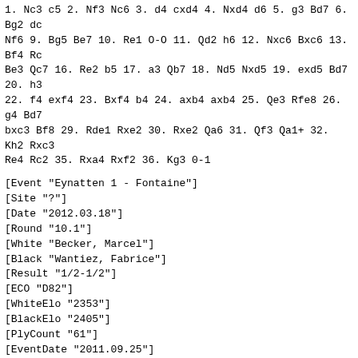1. Nc3 c5 2. Nf3 Nc6 3. d4 cxd4 4. Nxd4 d6 5. g3 Bd7 6. Bg2 dc Nf6 9. Bg5 Be7 10. Re1 O-O 11. Qd2 h6 12. Nxc6 Bxc6 13. Bf4 Rc Be3 Qc7 16. Re2 b5 17. a3 Qb7 18. Nd5 Nxd5 19. exd5 Bd7 20. h3 22. f4 exf4 23. Bxf4 b4 24. axb4 axb4 25. Qe3 Rfe8 26. g4 Bd7 bxc3 Bf8 29. Rde1 Rxe2 30. Rxe2 Qa6 31. Qf3 Qa1+ 32. Kh2 Rxc3 Re4 Rc2 35. Rxa4 Rxf2 36. Kg3 0-1
[Event "Eynatten 1 - Fontaine"]
[Site "?"]
[Date "2012.03.18"]
[Round "10.1"]
[White "Becker, Marcel"]
[Black "Wantiez, Fabrice"]
[Result "1/2-1/2"]
[ECO "D82"]
[WhiteElo "2353"]
[BlackElo "2405"]
[PlyCount "61"]
[EventDate "2011.09.25"]
[SourceDate "2011.10.09"]
1. d4 Nf6 2. c4 g6 3. Nc3 d5 4. Bf4 Bg7 5. e3 c6 6. cxd5 Nxd5 Ne2 Nd7 9. Nc3 Qa5 10. Bc4 e5 11. Bg3 exd4 12. exd4 O-O 13. O- 15. Re1 Rad8 16. Re7 Rxd4 17. Qe2 Rd7 18. Rxd7 Bxd7 19. Re1 Nd 21. Bd6 Rc8 22. b4 Qa3 23. Nxd5 Rc1 24. Be5 Bxe5 25. Qxe5 Rxe1 27. Nf6+ Kg7 28. Ne4 Qb2 29. a4 Qe5 30. Qc3 Qxc3 31. Nxc3 1/2-
[Event "Fontaine - Eynatten 1"]
[Site "?"]
[Date "2012.03.18"]
[Round "10.2"]
[White "Ringoir, Tanguy"]